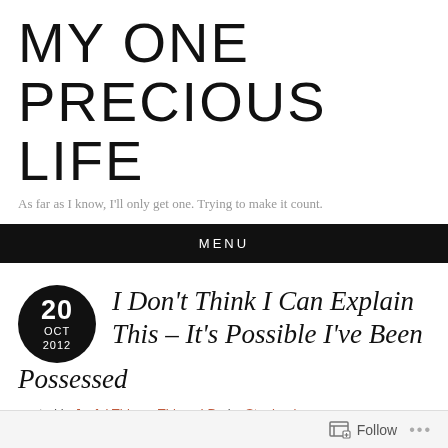MY ONE PRECIOUS LIFE
As far as I know, I'll only get one. Trying to make it count.
MENU
I Don't Think I Can Explain This – It's Possible I've Been Possessed
posted in Joyful Things, Things I Do by Stephanie